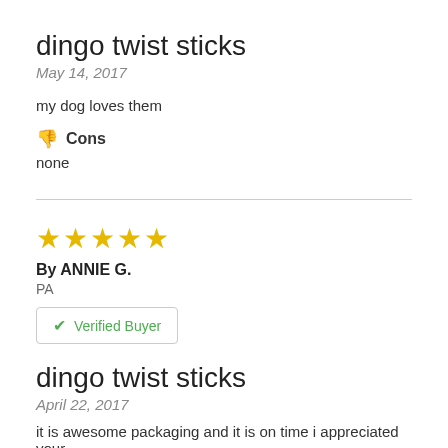dingo twist sticks
May 14, 2017
my dog loves them
👎 Cons
none
[Figure (other): Five yellow star rating icons]
By ANNIE G.
PA
✔ Verified Buyer
dingo twist sticks
April 22, 2017
it is awesome packaging and it is on time i appreciated your